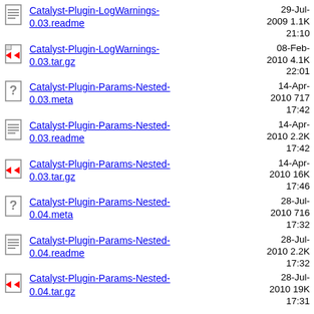Catalyst-Plugin-LogWarnings-0.03.readme  29-Jul-2009 21:10  1.1K
Catalyst-Plugin-LogWarnings-0.03.tar.gz  08-Feb-2010 22:01  4.1K
Catalyst-Plugin-Params-Nested-0.03.meta  14-Apr-2010 17:42  717
Catalyst-Plugin-Params-Nested-0.03.readme  14-Apr-2010 17:42  2.2K
Catalyst-Plugin-Params-Nested-0.03.tar.gz  14-Apr-2010 17:46  16K
Catalyst-Plugin-Params-Nested-0.04.meta  28-Jul-2010 17:32  716
Catalyst-Plugin-Params-Nested-0.04.readme  28-Jul-2010 17:32  2.2K
Catalyst-Plugin-Params-Nested-0.04.tar.gz  28-Jul-2010 17:31  19K